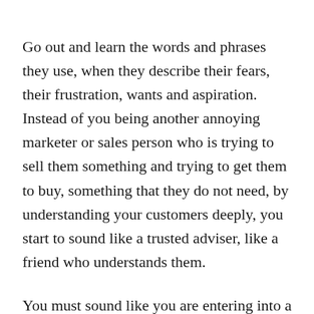Go out and learn the words and phrases they use, when they describe their fears, their frustration, wants and aspiration. Instead of you being another annoying marketer or sales person who is trying to sell them something and trying to get them to buy, something that they do not need, by understanding your customers deeply, you start to sound like a trusted adviser, like a friend who understands them.
You must sound like you are entering into a conversation that they are already having inside of their own mind. The further extent